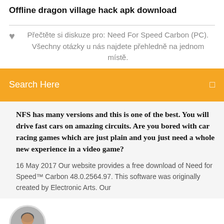Offline dragon village hack apk download
Přečtěte si diskuze pro: Need For Speed Carbon (PC). Všechny otázky u nás najdete přehledně na jednom místě.
Search Here
NFS has many versions and this is one of the best. You will drive fast cars on amazing circuits. Are you bored with car racing games which are just plain and you just need a whole new experience in a video game?
16 May 2017 Our website provides a free download of Need for Speed™ Carbon 48.0.2564.97. This software was originally created by Electronic Arts. Our